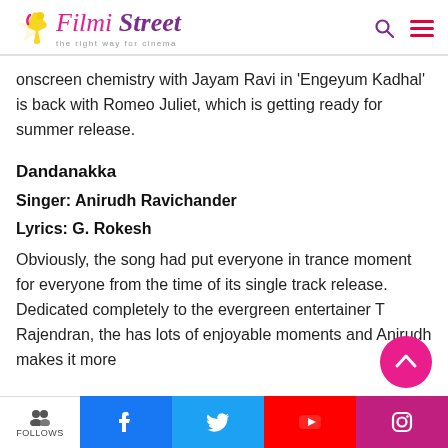Filmi Street – the right way for cinema
onscreen chemistry with Jayam Ravi in 'Engeyum Kadhal' is back with Romeo Juliet, which is getting ready for summer release.
Dandanakka
Singer: Anirudh Ravichander
Lyrics: G. Rokesh
Obviously, the song had put everyone in trance moment for everyone from the time of its single track release. Dedicated completely to the evergreen entertainer T Rajendran, the has lots of enjoyable moments and Anirudh makes it more